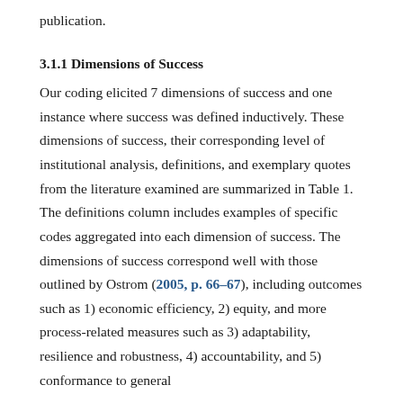publication.
3.1.1 Dimensions of Success
Our coding elicited 7 dimensions of success and one instance where success was defined inductively. These dimensions of success, their corresponding level of institutional analysis, definitions, and exemplary quotes from the literature examined are summarized in Table 1. The definitions column includes examples of specific codes aggregated into each dimension of success. The dimensions of success correspond well with those outlined by Ostrom (2005, p. 66–67), including outcomes such as 1) economic efficiency, 2) equity, and more process-related measures such as 3) adaptability, resilience and robustness, 4) accountability, and 5) conformance to general